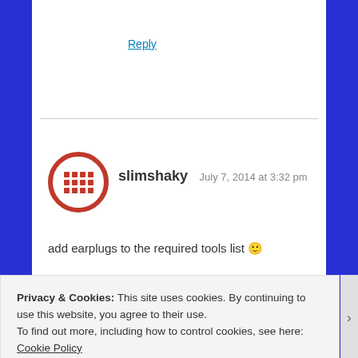Reply
[Figure (illustration): User avatar icon for slimshaky - red circular icon with grid/dot pattern]
slimshaky  July 7, 2014 at 3:32 pm
add earplugs to the required tools list 🙂
Like
Reply
Privacy & Cookies: This site uses cookies. By continuing to use this website, you agree to their use.
To find out more, including how to control cookies, see here: Cookie Policy
Close and accept